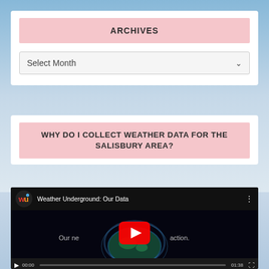ARCHIVES
Select Month
WHY DO I COLLECT WEATHER DATA FOR THE SALISBURY AREA?
[Figure (screenshot): YouTube embedded video player showing 'Weather Underground: Our Data' with WU logo, play button, video text 'Our ne...action.', and video controls showing 00:00 / 01:38]